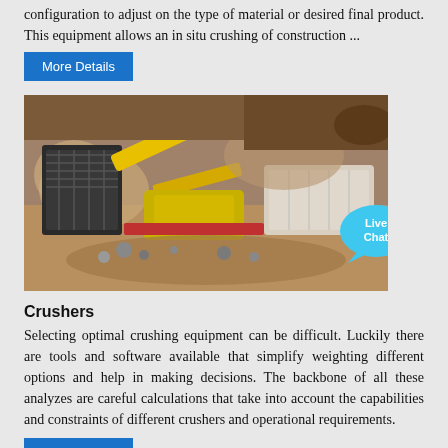configuration to adjust on the type of material or desired final product. This equipment allows an in situ crushing of construction ...
More Details
[Figure (photo): Aerial/close-up photo of heavy construction crushing equipment operating at a quarry or construction site, showing yellow machinery, conveyor belts, and dust clouds.]
Crushers
Selecting optimal crushing equipment can be difficult. Luckily there are tools and software available that simplify weighting different options and help in making decisions. The backbone of all these analyzes are careful calculations that take into account the capabilities and constraints of different crushers and operational requirements.
More Details